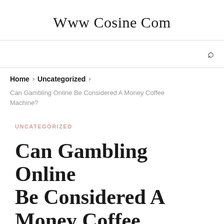Www Cosine Com
Home › Uncategorized ›
Can Gambling Online Be Considered A Money Coffee Machine?
UNCATEGORIZED
Can Gambling Online Be Considered A Money Coffee